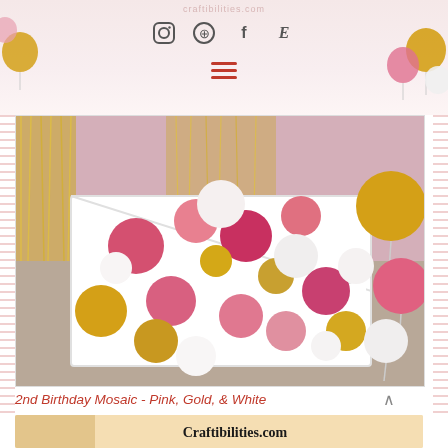craftibilities.com
[Figure (infographic): Social media icons: Instagram circle, Pinterest circle, Facebook f, Etsy E]
[Figure (other): Hamburger menu icon with three horizontal red lines]
[Figure (photo): A white number 2 mosaic balloon box filled with pink, gold, and white balloons arranged decoratively, set against a backdrop of gold tinsel fringe curtains with additional large balloons on the right side]
2nd Birthday Mosaic - Pink, Gold, & White
[Figure (screenshot): Bottom strip showing partial preview of another image with Craftibilities.com text]